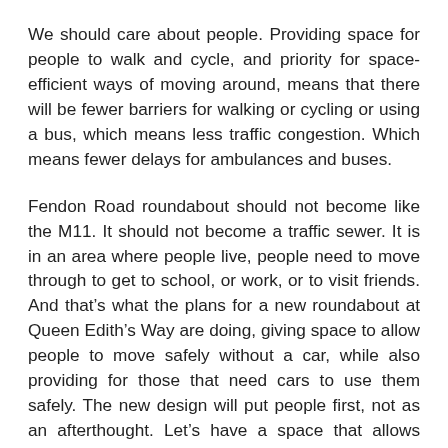We should care about people. Providing space for people to walk and cycle, and priority for space-efficient ways of moving around, means that there will be fewer barriers for walking or cycling or using a bus, which means less traffic congestion. Which means fewer delays for ambulances and buses.
Fendon Road roundabout should not become like the M11. It should not become a traffic sewer. It is in an area where people live, people need to move through to get to school, or work, or to visit friends. And that’s what the plans for a new roundabout at Queen Edith’s Way are doing, giving space to allow people to move safely without a car, while also providing for those that need cars to use them safely. The new design will put people first, not as an afterthought. Let’s have a space that allows people to move through this important junction without having to be inside a private motor car